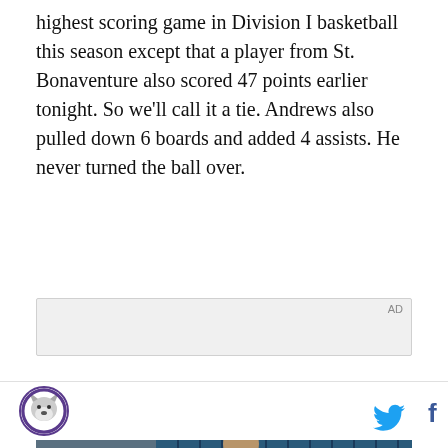highest scoring game in Division I basketball this season except that a player from St. Bonaventure also scored 47 points earlier tonight. So we'll call it a tie. Andrews also pulled down 6 boards and added 4 assists. He never turned the ball over.
[Figure (screenshot): Advertisement placeholder (light gray box with 'AD' label) above a video screenshot showing a young man in a denim jacket standing in front of a tiled wall, with text 'Unfold your world' and a play button overlay]
[Figure (logo): Circular logo with animal mascot (husky/wolf) in purple and gold, and social media icons for Twitter and Facebook]